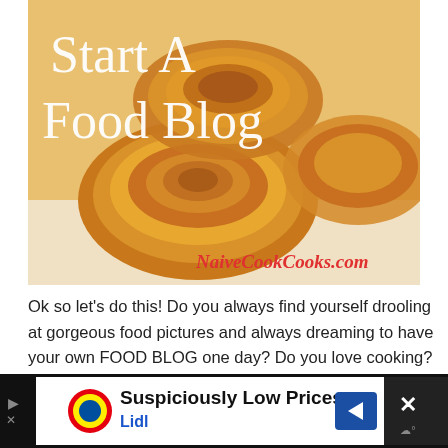[Figure (photo): Close-up photo of spiral-shaped fried pastries (chakli/murukku style) on white paper, with text overlay 'Start A Food Blog' and watermark 'NaiveCookCooks.com']
Ok so let's do this! Do you always find yourself drooling at gorgeous food pictures and always dreaming to have your own FOOD BLOG one day? Do you love cooking? If you said YES to
[Figure (screenshot): Advertisement banner: 'Suspiciously Low Prices' Lidl ad with Lidl logo, navigation arrow icon, and close button]